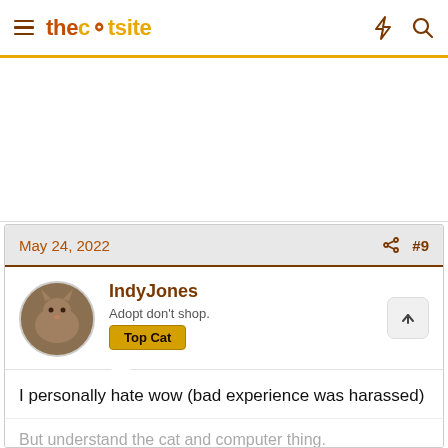thecatsite
May 24, 2022  #9
IndyJones
Adopt don't shop.
Top Cat
I personally hate wow (bad experience was harassed)
But understand the cat and computer thing.